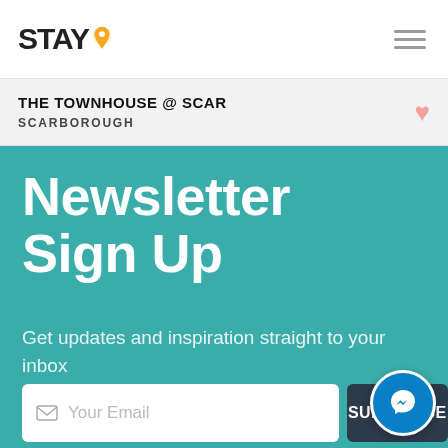STAY (logo with pin icon)
THE TOWNHOUSE @ SCAR
SCARBOROUGH
Newsletter Sign Up
Get updates and inspiration straight to your inbox
Your Email
SUBSCRIBE
By ticking this box you are agreeing to receiving marketing communications from us as outlined in our Privacy Policy